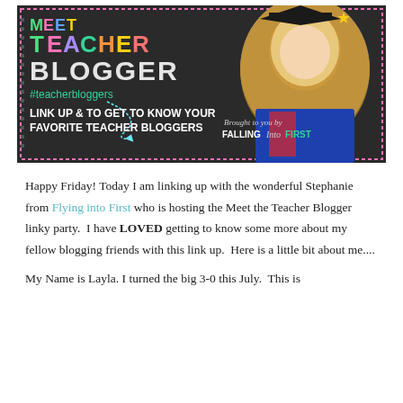[Figure (illustration): Meet the Teacher Blogger promotional banner with chalkboard background, colorful text reading MEET THE TEACHER BLOGGER #teacherbloggers, a photo of a young blonde woman, and text reading LINK UP & TO GET TO KNOW YOUR FAVORITE TEACHER BLOGGERS, Brought to you by FALLING Into FIRST]
Happy Friday! Today I am linking up with the wonderful Stephanie from Flying into First who is hosting the Meet the Teacher Blogger linky party.  I have LOVED getting to know some more about my fellow blogging friends with this link up.  Here is a little bit about me....
My Name is Layla. I turned the big 3-0 this July.  This is